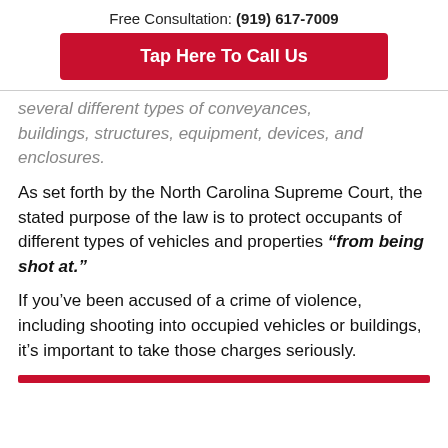Free Consultation: (919) 617-7009
Tap Here To Call Us
several different types of conveyances, buildings, structures, equipment, devices, and enclosures.
As set forth by the North Carolina Supreme Court, the stated purpose of the law is to protect occupants of different types of vehicles and properties “from being shot at.”
If you’ve been accused of a crime of violence, including shooting into occupied vehicles or buildings, it’s important to take those charges seriously.